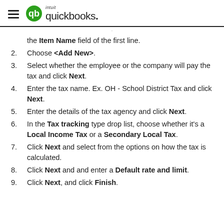quickbooks
the Item Name field of the first line.
2. Choose <Add New>.
3. Select whether the employee or the company will pay the tax and click Next.
4. Enter the tax name. Ex. OH - School District Tax and click Next.
5. Enter the details of the tax agency and click Next.
6. In the Tax tracking type drop list, choose whether it's a Local Income Tax or a Secondary Local Tax.
7. Click Next and select from the options on how the tax is calculated.
8. Click Next and and enter a Default rate and limit.
9. Click Next, and click Finish.